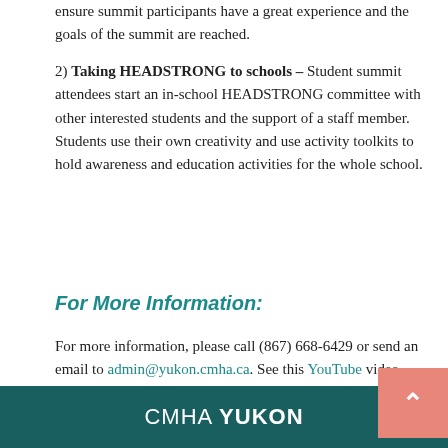ensure summit participants have a great experience and the goals of the summit are reached.
2) Taking HEADSTRONG to schools – Student summit attendees start an in-school HEADSTRONG committee with other interested students and the support of a staff member. Students use their own creativity and use activity toolkits to hold awareness and education activities for the whole school.
For More Information:
For more information, please call (867) 668-6429 or send an email to admin@yukon.cmha.ca. See this YouTube video link below to find out more about what a HEADSTRONG summit looks like.
CMHA YUKON